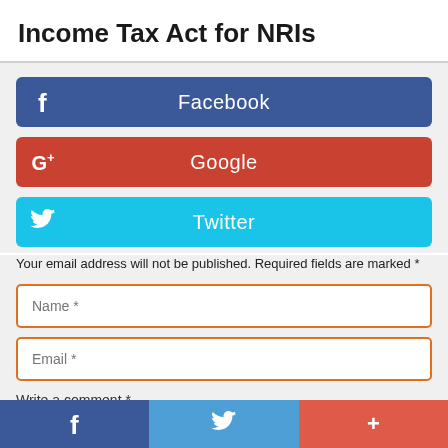Income Tax Act for NRIs
[Figure (other): Social login buttons: Facebook (blue), Google+ (red), Twitter (cyan)]
Your email address will not be published. Required fields are marked *
Name *
Email *
Write a comment *
Facebook | Twitter | +